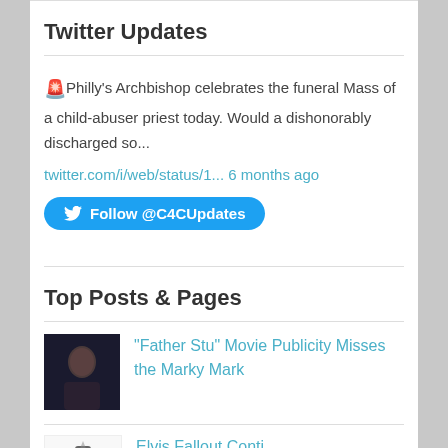Twitter Updates
🚨Philly's Archbishop celebrates the funeral Mass of a child-abuser priest today. Would a dishonorably discharged so...
twitter.com/i/web/status/1... 6 months ago
Follow @C4CUpdates
Top Posts & Pages
"Father Stu" Movie Publicity Misses the Marky Mark
[Figure (photo): Thumbnail photo of a man against a dark background]
Elvis Fallout Conti...